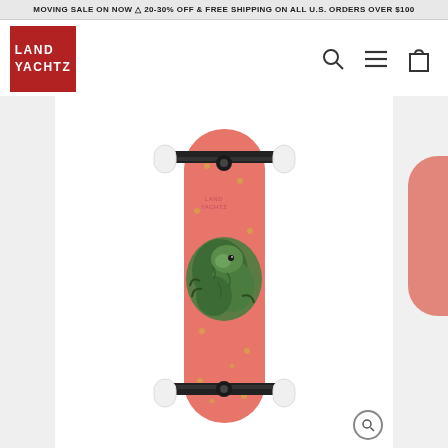MOVING SALE ON NOW ⚠ 20-30% OFF & FREE SHIPPING ON ALL U.S. ORDERS OVER $100
[Figure (logo): Land Yachtz logo — white text on dark red square background]
[Figure (photo): Land Yachtz skateboard complete — coral/salmon colored deck with green sloth curled up illustration and gold dots, black trucks, white wheels]
[Figure (photo): Partial view of another skateboard on the right edge]